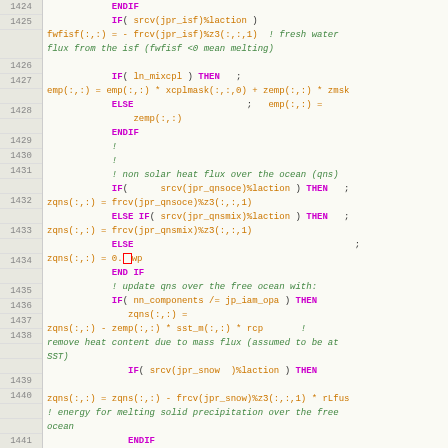[Figure (screenshot): Fortran source code editor view showing lines 1424-1443 with syntax highlighting. Keywords in purple, variable/function calls in orange, comments in green italic, on a light yellow-gray background with line numbers in left gutter.]